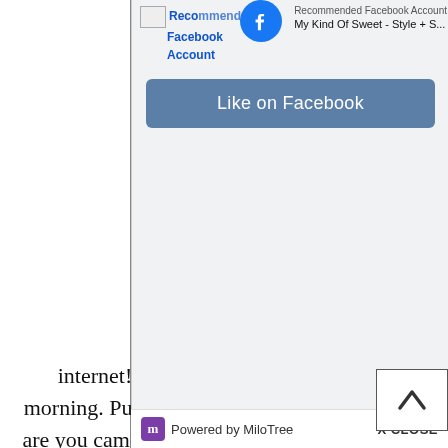[Figure (screenshot): Facebook 'Recommended Facebook Account' popup widget showing Facebook logo icon, page name 'My Kind Of Sweet - Style + S...', a 'Like on Facebook' blue-grey button, and a 'Powered by MiloTree' bar with 'X CLOSE' button]
Wel... internet! Reheat your coffee from this morning. Pull up a chair. Get comfy. Chances are you came for a few style posts, but maybe you'll stay for the sobriety and motherhood posts, too. I'm so glad you're here...